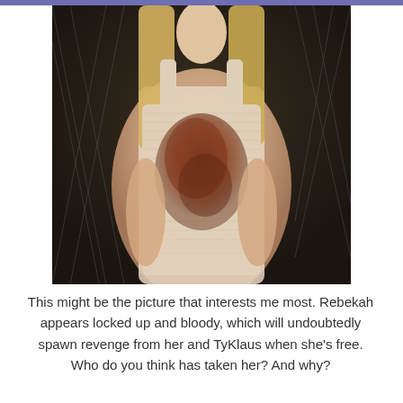[Figure (photo): A blonde woman wearing a light-colored tank top with a large dark bloodstain on the chest, sitting against a chain-link fence background. Her face is cropped out of frame.]
This might be the picture that interests me most. Rebekah appears locked up and bloody, which will undoubtedly spawn revenge from her and TyKlaus when she's free. Who do you think has taken her? And why?